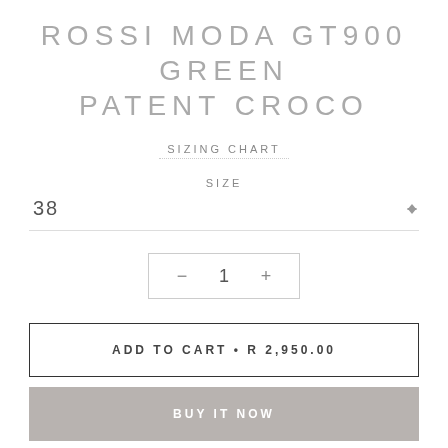ROSSI MODA GT900 GREEN PATENT CROCO
SIZING CHART
SIZE
38
- 1 +
ADD TO CART • R 2,950.00
BUY IT NOW